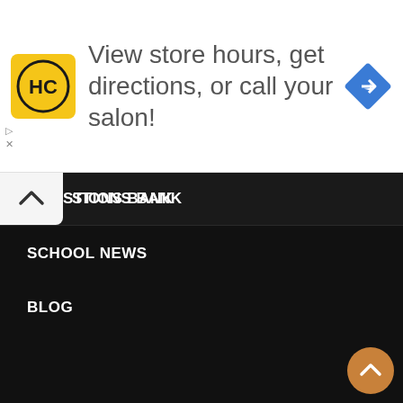[Figure (screenshot): Advertisement banner with HC logo (yellow circle with HC text), text 'View store hours, get directions, or call your salon!', and a blue diamond navigation icon. Has play and close controls at the bottom left.]
STIONS BANK
SCHOOL NEWS
BLOG
SOCIAL/CONTACT LINKS
EduPodia's Direct WhatsApp Line
WhatsApp Group
Telegram Group
Twitter Account